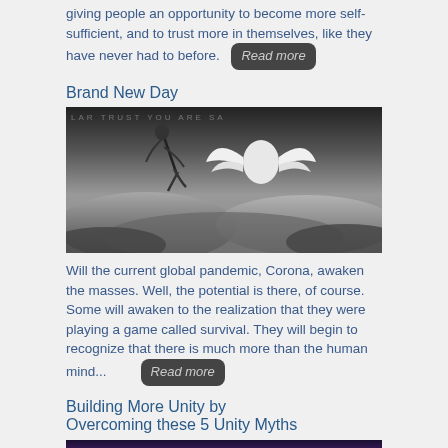giving people an opportunity to become more self-sufficient, and to trust more in themselves, like they have never had to before. Read more
Brand New Day
[Figure (photo): Black and white surreal image showing a person diving into ocean waves, with a white angelic figure with wings in the background. Text overlay at top reads 'LAW TRUST YOU ARE SA']
Will the current global pandemic, Corona, awaken the masses. Well, the potential is there, of course. Some will awaken to the realization that they were playing a game called survival. They will begin to recognize that there is much more than the human mind... Read more
Building More Unity by Overcoming these 5 Unity Myths
[Figure (photo): Sunset photo with warm orange and purple tones, with text overlay at bottom reading 'If everyone in the world']